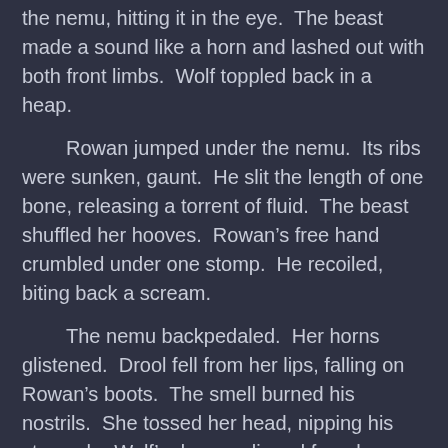the nemu, hitting it in the eye.  The beast made a sound like a horn and lashed out with both front limbs.  Wolf toppled back in a heap.

    Rowan jumped under the nemu.  Its ribs were sunken, gaunt.  He slit the length of one bone, releasing a torrent of fluid.  The beast shuffled her hooves.  Rowan's free hand crumbled under one stomp.  He recoiled, biting back a scream.

    The nemu backpedaled.  Her horns glistened.  Drool fell from her lips, falling on Rowan's boots.  The smell burned his nostrils.  She tossed her head, nipping his stomach.  Wolf's dagger slipped from her eye, doused in ichor.  It fell with a clatter beside Rowan's crippled hand.

    Rowan forced his cracked fingers open and gripped the dagger.  With both raised, he propelled himself to one side